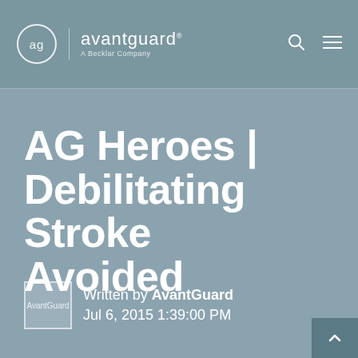avantguard | A Becklar Company
AG Heroes | Debilitating Stroke Avoided
Written by AvantGuard
Jul 6, 2015 1:39:00 PM